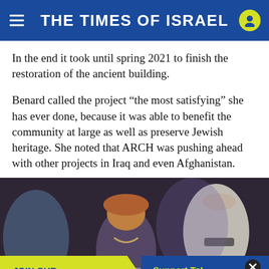THE TIMES OF ISRAEL
In the end it took until spring 2021 to finish the restoration of the ancient building.
Benard called the project “the most satisfying” she has ever done, because it was able to benefit the community at large as well as preserve Jewish heritage. She noted that ARCH was pushing ahead with other projects in Iraq and even Afghanistan.
[Figure (photo): Group of people seated at a gathering; a woman in a colorful hat in center, an older man wearing a kippah on the right, others around a table with photographs.]
JOIN OUR COMMUNITY  |  Support ToI and remove ads